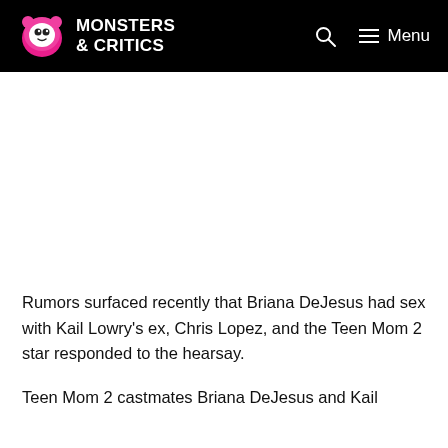Monsters & Critics
[Figure (other): Advertisement / blank white space area below header]
Rumors surfaced recently that Briana DeJesus had sex with Kail Lowry's ex, Chris Lopez, and the Teen Mom 2 star responded to the hearsay.
Teen Mom 2 castmates Briana DeJesus and Kail